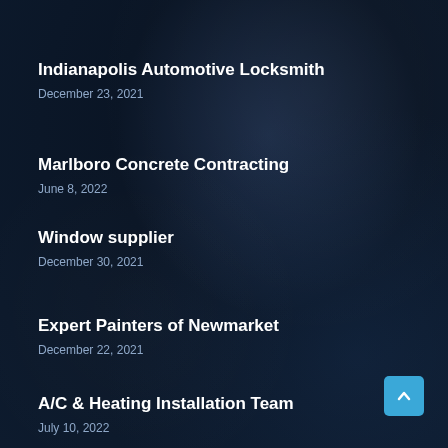Indianapolis Automotive Locksmith
December 23, 2021
Marlboro Concrete Contracting
June 8, 2022
Window supplier
December 30, 2021
Expert Painters of Newmarket
December 22, 2021
A/C & Heating Installation Team
July 10, 2022